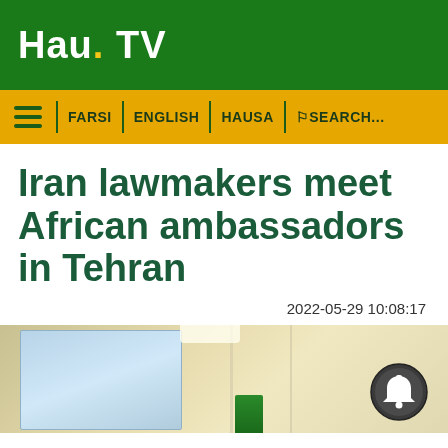Hau. TV
FARSI | ENGLISH | HAUSA | SEARCH...
Iran lawmakers meet African ambassadors in Tehran
2022-05-29 10:08:17
[Figure (photo): Interior room with a map or screen on the left wall, light-colored walls and furniture, with a bell/notification icon overlay in the lower right]